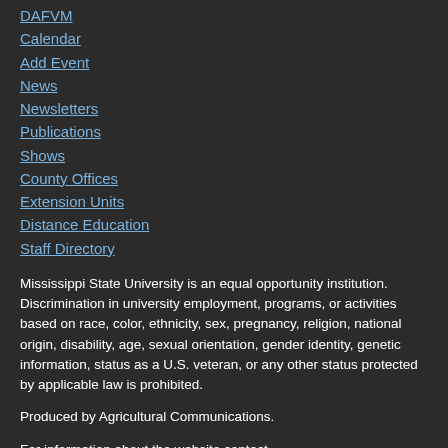DAFVM
Calendar
Add Event
News
Newsletters
Publications
Shows
County Offices
Extension Units
Distance Education
Staff Directory
Mississippi State University is an equal opportunity institution. Discrimination in university employment, programs, or activities based on race, color, ethnicity, sex, pregnancy, religion, national origin, disability, age, sexual orientation, gender identity, genetic information, status as a U.S. veteran, or any other status protected by applicable law is prohibited.
Produced by Agricultural Communications.
For information about the website contact webteam@ext.msstate.edu.
Copyright © 2022 Mississippi State University Extension Service. All rights reserved.